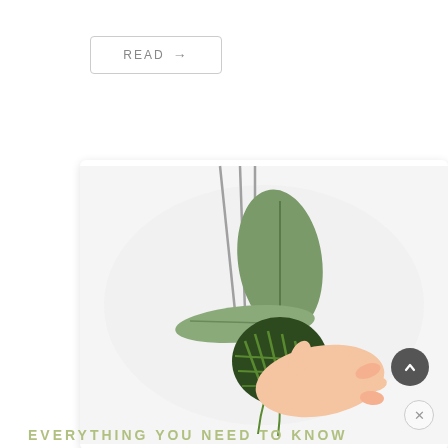[Figure (other): READ button with arrow pointing right, in a rounded rectangle outline]
[Figure (photo): A hand holding a small orchid plant with exposed green roots and two large oval leaves against a white background]
Lorraine
Just opted in for the free cheat sheet
about 11 hours ago
EVERYTHING YOU NEED TO KNOW